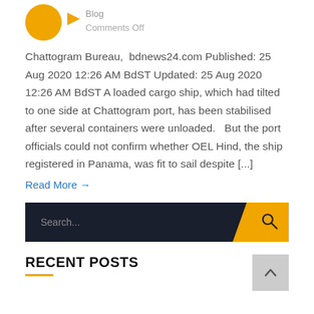Blog
Comments Off
Chattogram Bureau,  bdnews24.com Published: 25 Aug 2020 12:26 AM BdST Updated: 25 Aug 2020 12:26 AM BdST A loaded cargo ship, which had tilted to one side at Chattogram port, has been stabilised after several containers were unloaded.   But the port officials could not confirm whether OEL Hind, the ship registered in Panama, was fit to sail despite [...]
Read More →
[Figure (screenshot): Search bar with dark background and orange search button icon]
RECENT POSTS